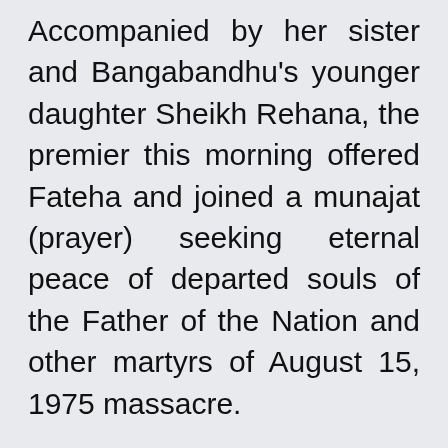Accompanied by her sister and Bangabandhu's younger daughter Sheikh Rehana, the premier this morning offered Fateha and joined a munajat (prayer) seeking eternal peace of departed souls of the Father of the Nation and other martyrs of August 15, 1975 massacre.
Prayers were also offered seeking divine blessings for good health and long life of Sheikh Hasina and Sheikh Rehana and other members of their...